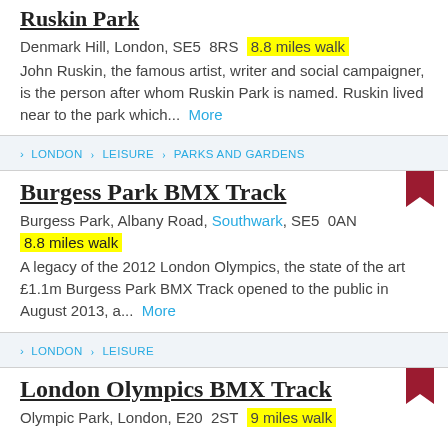Ruskin Park
Denmark Hill, London, SE5  8RS  8.8 miles walk
John Ruskin, the famous artist, writer and social campaigner, is the person after whom Ruskin Park is named. Ruskin lived near to the park which... More
LONDON > LEISURE > PARKS AND GARDENS
Burgess Park BMX Track
Burgess Park, Albany Road, Southwark, SE5  0AN
8.8 miles walk
A legacy of the 2012 London Olympics, the state of the art £1.1m Burgess Park BMX Track opened to the public in August 2013, a... More
LONDON > LEISURE
London Olympics BMX Track
Olympic Park, London, E20  2ST  9 miles walk